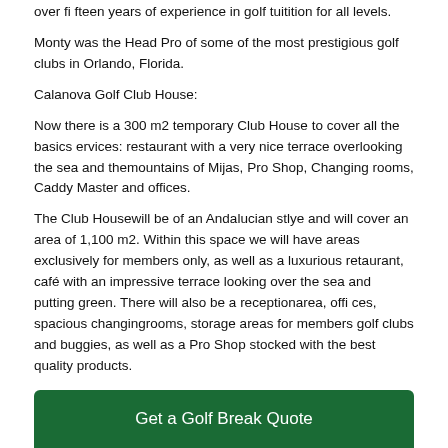over fifteen years of experience in golf tuitition for all levels.
Monty was the Head Pro of some of the most prestigious golf clubs in Orlando, Florida.
Calanova Golf Club House:
Now there is a 300 m2 temporary Club House to cover all the basics ervices: restaurant with a very nice terrace overlooking the sea and themountains of Mijas, Pro Shop, Changing rooms, Caddy Master and offices.
The Club Housewill be of an Andalucian stlye and will cover an area of 1,100 m2. Within this space we will have areas exclusively for members only, as well as a luxurious retaurant, café with an impressive terrace looking over the sea and putting green. There will also be a receptionarea, offi ces, spacious changingrooms, storage areas for members golf clubs and buggies, as well as a Pro Shop stocked with the best quality products.
Get a Golf Break Quote